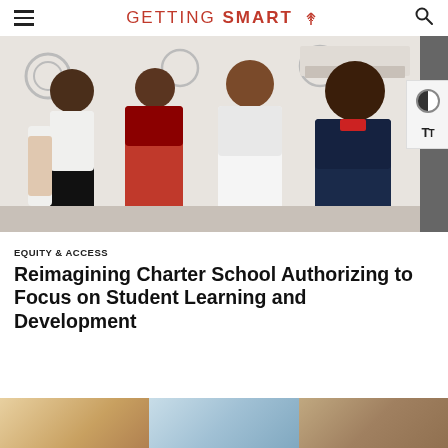GETTING SMART
[Figure (photo): Four people posing together in front of a Brooklyn Lab Charter School step-and-repeat banner backdrop]
EQUITY & ACCESS
Reimagining Charter School Authorizing to Focus on Student Learning and Development
[Figure (photo): Three thumbnail images at the bottom of the page showing people in educational settings]